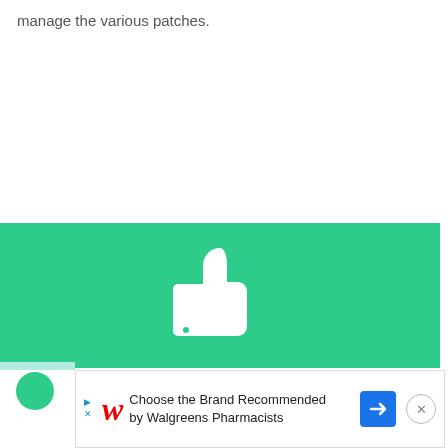manage the various patches.
[Figure (illustration): Green banner with a white thumbs-up icon in the center]
[Figure (illustration): Walgreens advertisement bar: play icon, Walgreens W logo, text 'Choose the Brand Recommended by Walgreens Pharmacists', blue arrow direction sign, and close X button]